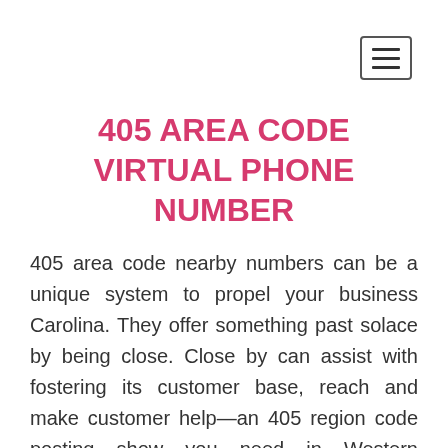405 AREA CODE VIRTUAL PHONE NUMBER
405 area code nearby numbers can be a unique system to propel your business Carolina. They offer something past solace by being close. Close by can assist with fostering its customer base, reach and make customer help—an 405 region code posting show you need in Western Oklahoma.